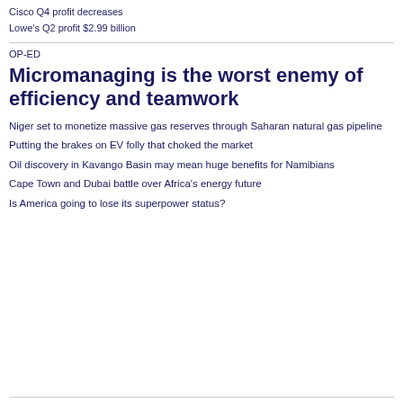Cisco Q4 profit decreases
Lowe's Q2 profit $2.99 billion
OP-ED
Micromanaging is the worst enemy of efficiency and teamwork
Niger set to monetize massive gas reserves through Saharan natural gas pipeline
Putting the brakes on EV folly that choked the market
Oil discovery in Kavango Basin may mean huge benefits for Namibians
Cape Town and Dubai battle over Africa's energy future
Is America going to lose its superpower status?